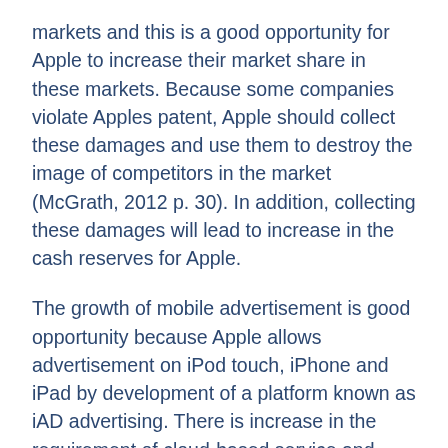markets and this is a good opportunity for Apple to increase their market share in these markets. Because some companies violate Apples patent, Apple should collect these damages and use them to destroy the image of competitors in the market (McGrath, 2012 p. 30). In addition, collecting these damages will lead to increase in the cash reserves for Apple.
The growth of mobile advertisement is good opportunity because Apple allows advertisement on iPod touch, iPhone and iPad by development of a platform known as iAD advertising. There is increase in the requirement of cloud-based service and Apple can increase its services to relate to the iCloud and the software. Apple takes advantage of these